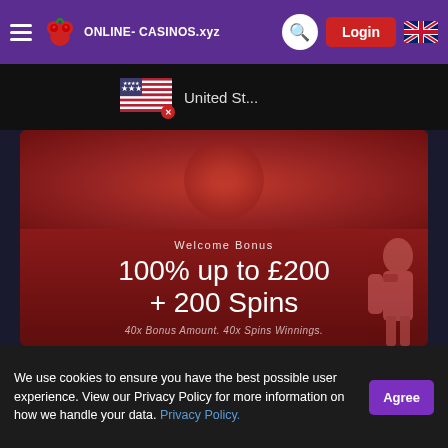ONLINE-CASINOS.xyz navigation bar with hamburger menu, logo, search, Login button, UK flag
[Figure (screenshot): United States flag with red X close button and truncated text 'United St...' on dark background dropdown]
[Figure (screenshot): Casino welcome bonus banner: red gradient background with circular element. Text: 'Welcome Bonus', '100% up to £200 + 200 Spins', '40x Bonus Amount. 40x Spins Winnings.' Person silhouette visible in bottom-right corner.]
We use cookies to ensure you have the best possible user experience. View our Privacy Policy for more information on how we handle your data. Privacy Policy.